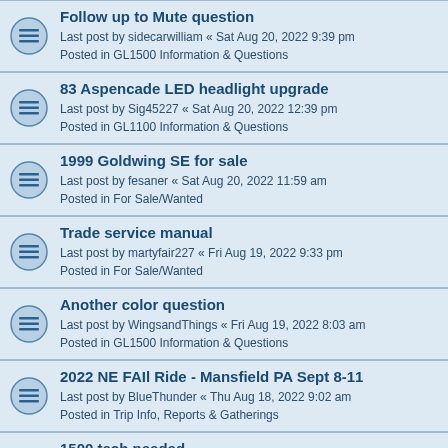Follow up to Mute question
Last post by sidecarwilliam « Sat Aug 20, 2022 9:39 pm
Posted in GL1500 Information & Questions
83 Aspencade LED headlight upgrade
Last post by Sig45227 « Sat Aug 20, 2022 12:39 pm
Posted in GL1100 Information & Questions
1999 Goldwing SE for sale
Last post by fesaner « Sat Aug 20, 2022 11:59 am
Posted in For Sale/Wanted
Trade service manual
Last post by martyfair227 « Fri Aug 19, 2022 9:33 pm
Posted in For Sale/Wanted
Another color question
Last post by WingsandThings « Fri Aug 19, 2022 8:03 am
Posted in GL1500 Information & Questions
2022 NE FAIl Ride - Mansfield PA Sept 8-11
Last post by BlueThunder « Thu Aug 18, 2022 9:02 am
Posted in Trip Info, Reports & Gatherings
1500 tech needed
Last post by JD Diesel « Wed Aug 17, 2022 12:05 pm
Posted in GL1500 Information & Questions
Wanted- gl1100 carb intake boots/manifold